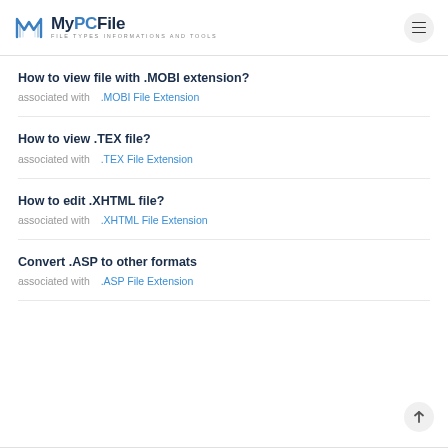MyPCFile — FILE TYPES INFORMATIONS AND TOOLS
How to view file with .MOBI extension?
associated with  .MOBI File Extension
How to view .TEX file?
associated with  .TEX File Extension
How to edit .XHTML file?
associated with  .XHTML File Extension
Convert .ASP to other formats
associated with  .ASP File Extension